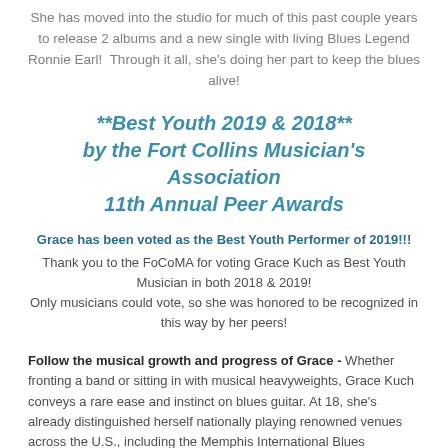She has moved into the studio for much of this past couple years to release 2 albums and a new single with living Blues Legend Ronnie Earl! Through it all, she's doing her part to keep the blues alive!
**Best Youth 2019 & 2018** by the Fort Collins Musician's Association 11th Annual Peer Awards
Grace has been voted as the Best Youth Performer of 2019!!!
Thank you to the FoCoMA for voting Grace Kuch as Best Youth Musician in both 2018 & 2019! Only musicians could vote, so she was honored to be recognized in this way by her peers!
Follow the musical growth and progress of Grace - Whether fronting a band or sitting in with musical heavyweights, Grace Kuch conveys a rare ease and instinct on blues guitar. At 18, she's already distinguished herself nationally playing renowned venues across the U.S., including the Memphis International Blues Challenge, Greeley Blues Jam, King Biscuit Blues Festival, Big Blues Bender, and more. True to her name, she moves gracefully within traditional blues compositions on both acoustic and electric guitar, while